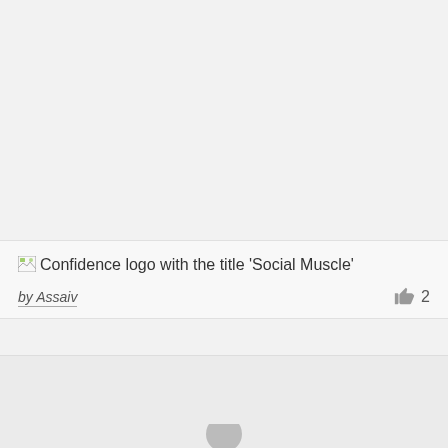Confidence logo with the title 'Social Muscle'
by Assaiv
2
[Figure (other): Bottom card area with a partially visible person/profile icon at the bottom center]